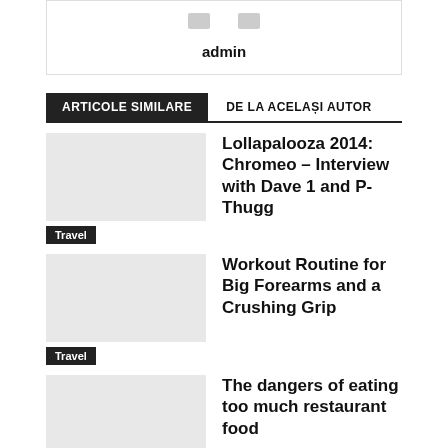admin
ARTICOLE SIMILARE
DE LA ACELAȘI AUTOR
Lollapalooza 2014: Chromeo – Interview with Dave 1 and P-Thugg
Travel
Workout Routine for Big Forearms and a Crushing Grip
Travel
The dangers of eating too much restaurant food
Travel